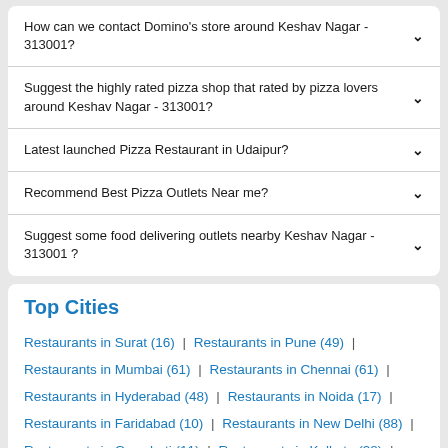How can we contact Domino's store around Keshav Nagar - 313001?
Suggest the highly rated pizza shop that rated by pizza lovers around Keshav Nagar - 313001?
Latest launched Pizza Restaurant in Udaipur?
Recommend Best Pizza Outlets Near me?
Suggest some food delivering outlets nearby Keshav Nagar - 313001 ?
Top Cities
Restaurants in Surat (16) | Restaurants in Pune (49) | Restaurants in Mumbai (61) | Restaurants in Chennai (61) | Restaurants in Hyderabad (48) | Restaurants in Noida (17) | Restaurants in Faridabad (10) | Restaurants in New Delhi (88) | Restaurants in Guwahati (11) | Restaurants in Kolkata (38) | Restaurants in Bangalore (106) | Restaurants in Dehradun (6) | Restaurants in Ahmedabad (27) |